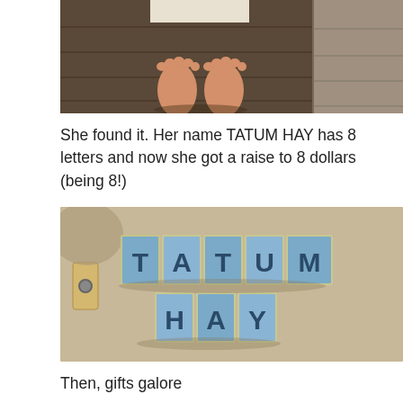[Figure (photo): Child's bare feet standing on a wood plank floor, photo cropped at the top]
She found it. Her name TATUM HAY has 8 letters and now she got a raise to 8 dollars (being 8!)
[Figure (photo): Decorative wooden letters spelling TATUM on top row and HAY on bottom row, arranged on a carpeted floor with a wall plate visible on the left]
Then, gifts galore